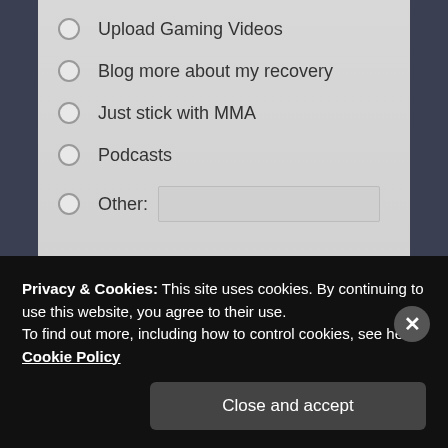Upload Gaming Videos
Blog more about my recovery
Just stick with MMA
Podcasts
Other:
VOTE
View Results   Crowdsignal.com
Advertisements
Privacy & Cookies: This site uses cookies. By continuing to use this website, you agree to their use.
To find out more, including how to control cookies, see here: Cookie Policy
Close and accept